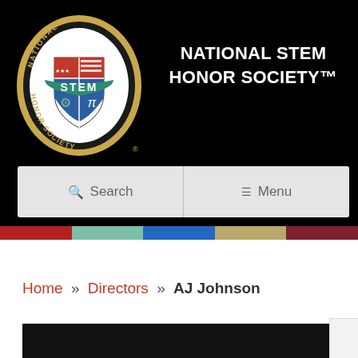[Figure (logo): National STEM Honor Society circular logo with gold border, shield with red/blue/green sections showing science/technology/engineering/math symbols, green banner reading STEM, text around ring reading NATIONAL HONOR SOCIETY with registered trademark]
NATIONAL STEM HONOR SOCIETY™
Search   Menu
Home » Directors » AJ Johnson
[Figure (photo): Dark/black background image at bottom of page, partially visible]